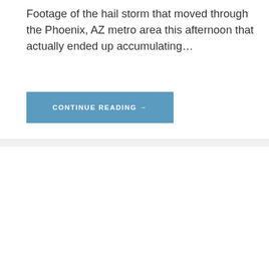Footage of the hail storm that moved through the Phoenix, AZ metro area this afternoon that actually ended up accumulating…
CONTINUE READING →
Record Cold Hits Central Park 5th Ave in New York City, NY – 11/13/2019
November 13, 2019
StormChasingVideo